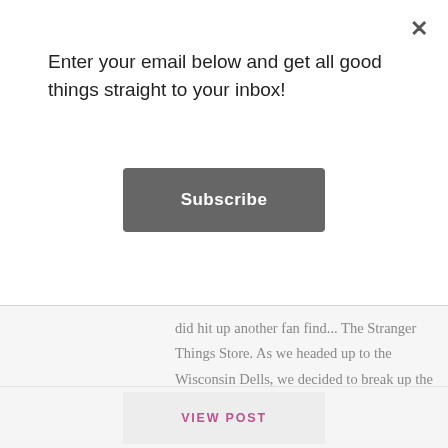Enter your email below and get all good things straight to your inbox!
[Figure (other): Subscribe button - dark grey rounded rectangle with white 'Subscribe' text]
did hit up another fan find... The Stranger Things Store. As we headed up to the Wisconsin Dells, we decided to break up the trip with a somewhat surprise stop in Oak Brook, Illinois to check out this Stranger Things experience. I had heard about this ...
[Figure (other): VIEW POST button - light grey rectangle with pink/magenta uppercase 'VIEW POST' text]